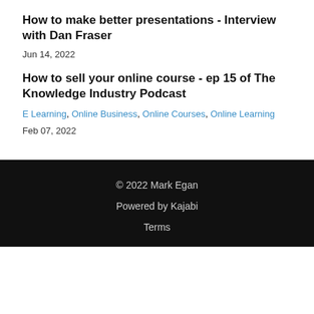How to make better presentations - Interview with Dan Fraser
Jun 14, 2022
How to sell your online course - ep 15 of The Knowledge Industry Podcast
E Learning, Online Business, Online Courses, Online Learning
Feb 07, 2022
© 2022 Mark Egan
Powered by Kajabi
Terms